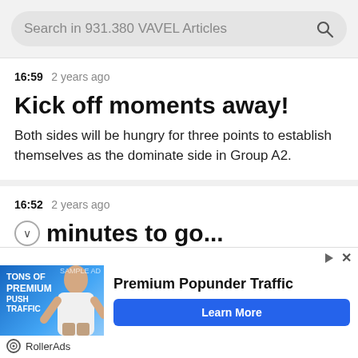Search in 931.380 VAVEL Articles
16:59  2 years ago
Kick off moments away!
Both sides will be hungry for three points to establish themselves as the dominate side in Group A2.
16:52  2 years ago
minutes to go...
[Figure (illustration): Advertisement banner for RollerAds Premium Popunder Traffic with a Learn More button]
RollerAds